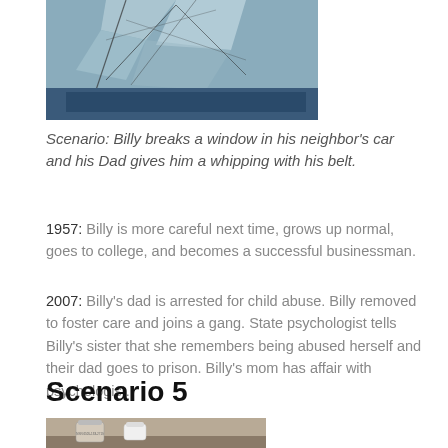[Figure (photo): Photo of a broken car windshield, blue car visible, shattered glass]
Scenario: Billy breaks a window in his neighbor's car and his Dad gives him a whipping with his belt.
1957: Billy is more careful next time, grows up normal, goes to college, and becomes a successful businessman.
2007: Billy's dad is arrested for child abuse. Billy removed to foster care and joins a gang. State psychologist tells Billy's sister that she remembers being abused herself and their dad goes to prison. Billy's mom has affair with psychologist.
Scenario 5
[Figure (photo): Photo of prescription medication bottles on a surface]